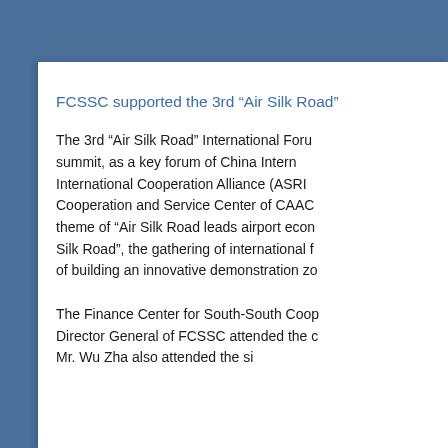FCSSC supported the 3rd “Air Silk Road”
The 3rd “Air Silk Road” International Forum summit, as a key forum of China International Cooperation Alliance (ASRIC), Cooperation and Service Center of CAAC theme of “Air Silk Road leads airport economy Silk Road”, the gathering of international f of building an innovative demonstration zo
The Finance Center for South-South Cooperation Director General of FCSSC attended the c Mr. Wu Zha also attended the si